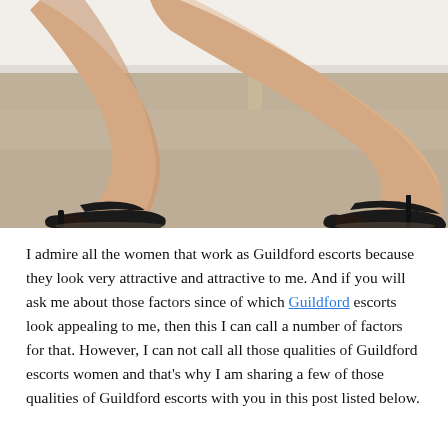[Figure (photo): Close-up photo of a woman's crossed legs wearing black high-heeled peep-toe shoes, seated on a white surface with carpet floor visible]
I admire all the women that work as Guildford escorts because they look very attractive and attractive to me. And if you will ask me about those factors since of which Guildford escorts look appealing to me, then this I can call a number of factors for that. However, I can not call all those qualities of Guildford escorts women and that's why I am sharing a few of those qualities of Guildford escorts with you in this post listed below.